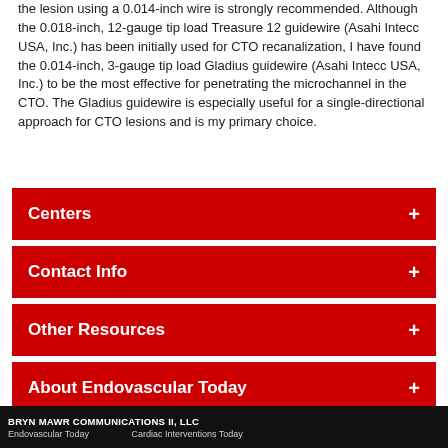the lesion using a 0.014-inch wire is strongly recommended. Although the 0.018-inch, 12-gauge tip load Treasure 12 guidewire (Asahi Intecc USA, Inc.) has been initially used for CTO recanalization, I have found the 0.014-inch, 3-gauge tip load Gladius guidewire (Asahi Intecc USA, Inc.) to be the most effective for penetrating the microchannel in the CTO. The Gladius guidewire is especially useful for a single-directional approach for CTO lesions and is my primary choice.
Centers
Contact Info
Other Resources
About Endovascular Today
BRYN MAWR COMMUNICATIONS II, LLC
Endovascular Today    Cardiac Interventions Today